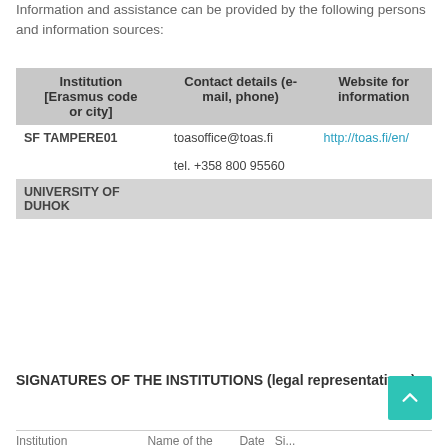Information and assistance can be provided by the following persons and information sources:
| Institution [Erasmus code or city] | Contact details (e-mail, phone) | Website for information |
| --- | --- | --- |
| SF TAMPERE01 | toasoffice@toas.fi

tel. +358 800 95560 | http://toas.fi/en/ |
| UNIVERSITY OF DUHOK |  |  |
SIGNATURES OF THE INSTITUTIONS (legal representatives)